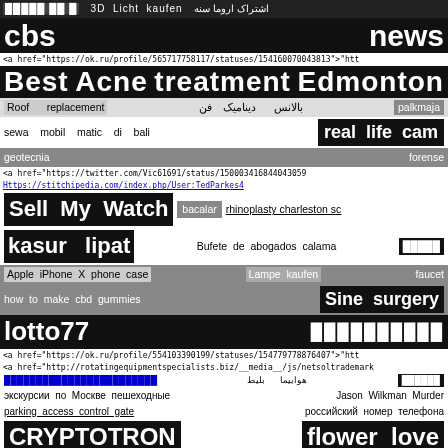█████ ██ █  3D Licht kaufen  اشتراک اروما سنه
cbs    news
<a href="https://ok.ru/profile/565717758117/statuses/154160070043813">"htt
Best  Acne  treatment  Edmonton
Roof replacement    بالانس دینامیک فن    palkmaja
sewa  mobil  matic  di  bali    real life cam
geotecnia    forense
<a href="https://twitter.com/Vic61691/status/150003416844043059
Https://stitchipedia.com/index.php/User:TedParkes4
Sell My Watch   bacalar   rhinoplasty charleston sc
kasur lipat    Bufete de abogados calama    █████
Apple iPhone X phone case   Lampe kaufen   faucet
how to make cbd gummies   Sine surgery
lotto77    ██████████
<a href="https://ok.ru/profile/554103390199/statuses/154779778876407">"htt
<a href="http://rotatingequipmentspecialists.biz/__media__/js/netsoltrademark
████████████████████████    هوابيما بليط   ██████
экскурсии по Москве пешеходные   Jason Wilkman Murder
parking access control gate   российский номер телефона
CRYPTOTRON   flower love
Gaming